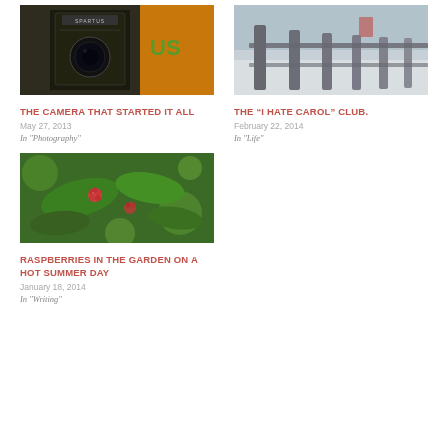[Figure (photo): Close-up of a vintage Spartus camera against a colorful background]
THE CAMERA THAT STARTED IT ALL
May 27, 2013
In "Photography"
[Figure (photo): Outdoor scene with wooden fence posts in winter with snow, slight vintage filter]
THE “I HATE CAROL” CLUB.
February 22, 2014
In "Life"
[Figure (photo): Close-up of raspberries growing on green leafy plants in a garden on a sunny day]
RASPBERRIES IN THE GARDEN ON A HOT SUMMER DAY
January 18, 2014
In "Writing"